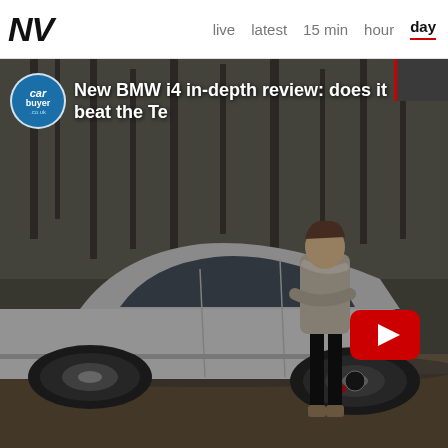NV  live  latest  15 min  hour  day
[Figure (screenshot): YouTube video thumbnail from CarBuyer channel showing a BMW i4 electric car parked outdoors with a person leaning against it. Video title: 'New BMW i4 in-depth review: does it beat the Te...' A YouTube play button is visible in the lower right. A thumbnail strip appears in the upper right corner.]